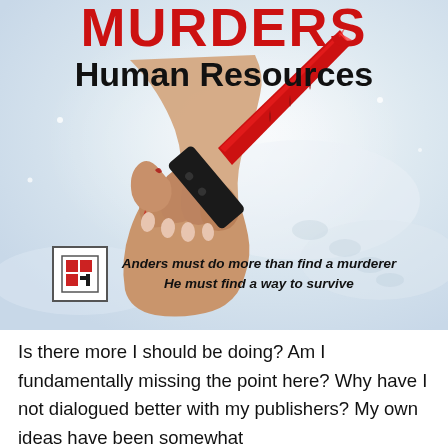Murders Human Resources
[Figure (illustration): A hand gripping a bloody knife with a red blade against a snowy white background with snow footprints. The scene is dramatic and dark.]
Anders must do more than find a murderer He must find a way to survive
Is there more I should be doing? Am I fundamentally missing the point here? Why have I not dialogued better with my publishers? My own ideas have been somewhat